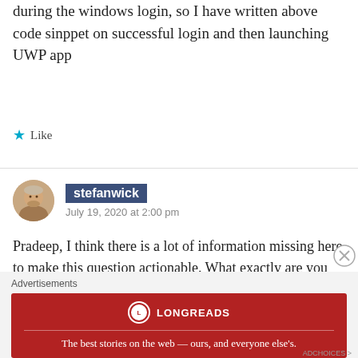during the windows login, so I have written above code sinppet on successful login and then launching UWP app
★ Like
stefanwick
July 19, 2020 at 2:00 pm
Pradeep, I think there is a lot of information missing here to make this question actionable. What exactly are you trying to accomplish? What does your manifest look like? Are you using the StartupTask extension?
https://docs.microsoft.com/en-
Advertisements
[Figure (other): Longreads advertisement banner: red background with Longreads logo and tagline 'The best stories on the web — ours, and everyone else's.']